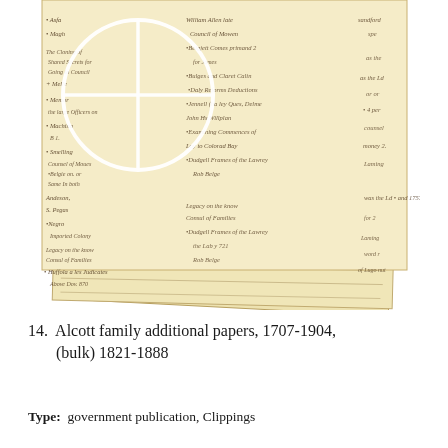[Figure (photo): Photograph of multiple overlapping aged handwritten manuscript pages (historical documents). The uppermost page has a white circle with a crosshair/plus symbol overlaid on it, highlighting a section of the handwriting. The pages are yellowed/cream colored with cursive handwriting in brown ink. Multiple pages are stacked and offset at angles, revealing layers beneath.]
14.  Alcott family additional papers, 1707-1904, (bulk) 1821-1888
Type:  government publication, Clippings